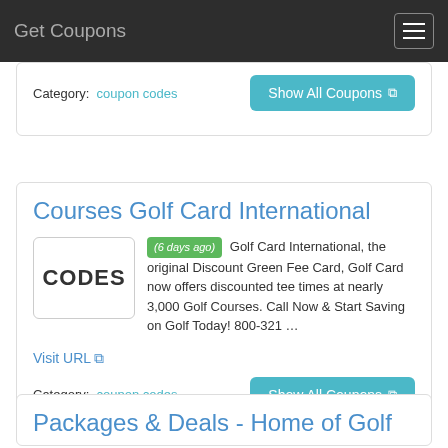Get Coupons
Category: coupon codes
Show All Coupons
Courses Golf Card International
(6 days ago) Golf Card International, the original Discount Green Fee Card, Golf Card now offers discounted tee times at nearly 3,000 Golf Courses. Call Now & Start Saving on Golf Today! 800-321 …
Visit URL
Category: coupon codes
Show All Coupons
Packages & Deals - Home of Golf